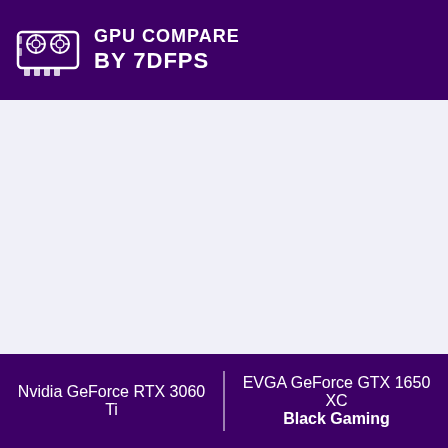GPU COMPARE BY 7DFPS
[Figure (other): Large blank/empty lavender-white content area used as the main comparison space]
Nvidia GeForce RTX 3060 Ti | EVGA GeForce GTX 1650 XC Black Gaming